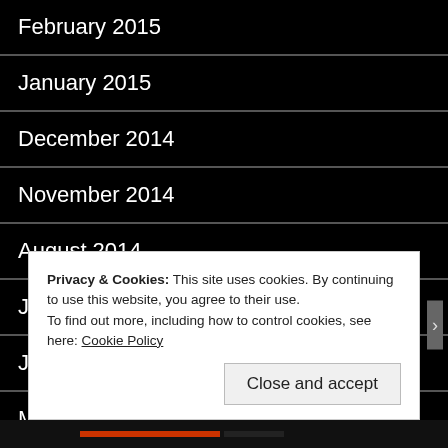February 2015
January 2015
December 2014
November 2014
August 2014
July 2014
June 2014
May 2014
April 2014
Privacy & Cookies: This site uses cookies. By continuing to use this website, you agree to their use.
To find out more, including how to control cookies, see here: Cookie Policy
Close and accept